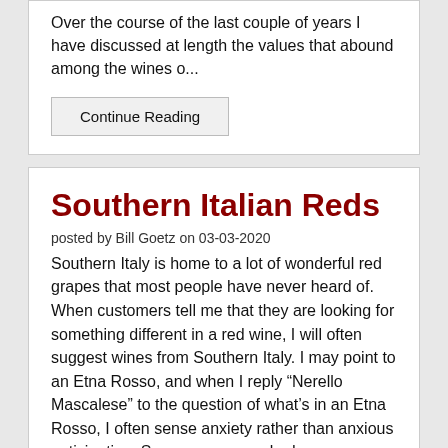Over the course of the last couple of years I have discussed at length the values that abound among the wines o...
Continue Reading
Southern Italian Reds
posted by Bill Goetz on 03-03-2020
Southern Italy is home to a lot of wonderful red grapes that most people have never heard of. When customers tell me that they are looking for something different in a red wine, I will often suggest wines from Southern Italy. I may point to an Etna Rosso, and when I reply “Nerello Mascalese” to the question of what’s in an Etna Rosso, I often sense anxiety rather than anxious anticipation. Someone once asked me